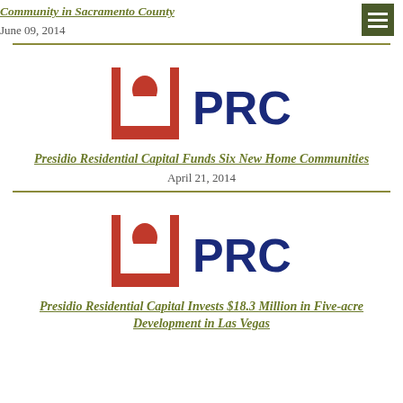Community in Sacramento County
June 09, 2014
[Figure (logo): PRC (Presidio Residential Capital) logo — red arch/doorway icon on left, dark blue 'PRC' text on right]
Presidio Residential Capital Funds Six New Home Communities
April 21, 2014
[Figure (logo): PRC (Presidio Residential Capital) logo — red arch/doorway icon on left, dark blue 'PRC' text on right]
Presidio Residential Capital Invests $18.3 Million in Five-acre Development in Las Vegas